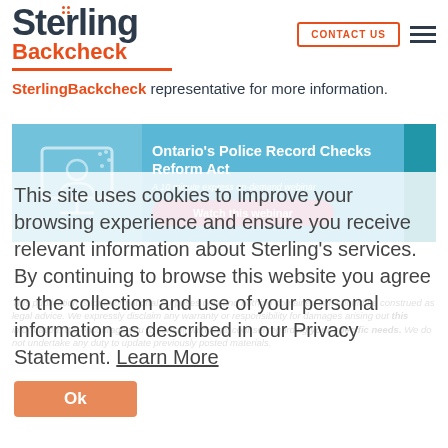[Figure (logo): Sterling Backcheck logo with orange dots on the u in Sterling]
CONTACT US
SterlingBackcheck representative for more information.
[Figure (infographic): Ontario's Police Record Checks Reform Act - A 10 minute express on-demand webinar. Watch this webinar button.]
This site uses cookies to improve your browsing experience and ensure you receive relevant information about Sterling's services. By continuing to browse this website you agree to the collection and use of your personal information as described in our Privacy Statement. Learn More
This publication is for informational purposes only and nothing contained in it should be construed as legal advice. We expressly disclaim any warranty or responsibility for damages arising out this information. We encourage you to consult with legal counsel regarding your specific needs. We do not undertake any duty to update previously posted materials.